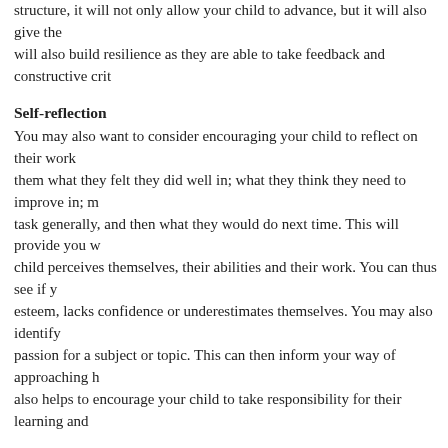structure, it will not only allow your child to advance, but it will also give them will also build resilience as they are able to take feedback and constructive crit
Self-reflection
You may also want to consider encouraging your child to reflect on their work them what they felt they did well in; what they think they need to improve in; m task generally, and then what they would do next time. This will provide you w child perceives themselves, their abilities and their work. You can thus see if y esteem, lacks confidence or underestimates themselves. You may also identify passion for a subject or topic. This can then inform your way of approaching h also helps to encourage your child to take responsibility for their learning and
Positive marking outside academia
It is worth noting that positive marking and feedback is not only for academic at the end of the day what is working and what is not working, following the st positive marking. For instance, if your teenager or child followed their routine, worked and the impact it made. If, however, your teenager or child did not do s feedback on the effect of this, but still adhering to the structure and scaffold fe means adjusting the routine; or, just asking your child how they felt and what t place.
You can also encourage your child to journal their day: what they enjoyed the m